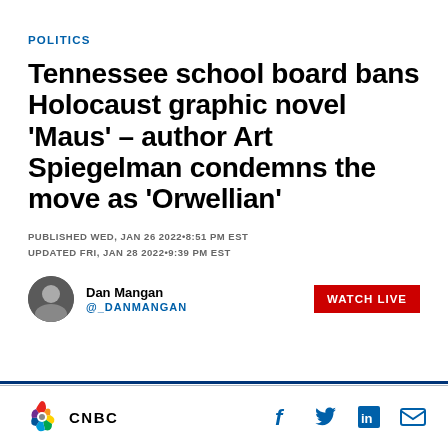POLITICS
Tennessee school board bans Holocaust graphic novel 'Maus' – author Art Spiegelman condemns the move as 'Orwellian'
PUBLISHED WED, JAN 26 2022•8:51 PM EST
UPDATED FRI, JAN 28 2022•9:39 PM EST
Dan Mangan
@_DANMANGAN
WATCH LIVE
[Figure (logo): CNBC network logo with colorful peacock symbol]
[Figure (infographic): Social media share icons: Facebook, Twitter, LinkedIn, Email]